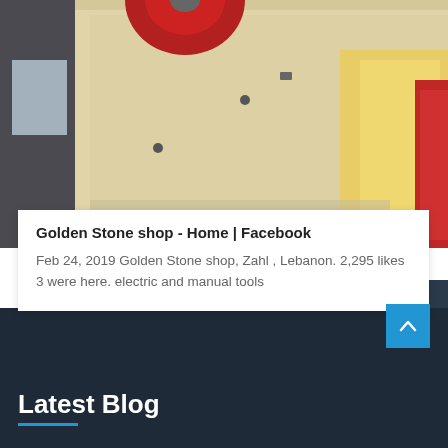[Figure (photo): Industrial stone crushing machine in a factory/warehouse setting, beige/yellow machine body with red flywheel, another red machine visible on the right side]
Golden Stone shop - Home | Facebook
Feb 24, 2019 Golden Stone shop, Zahl , Lebanon. 2,295 likes 3 were here. electric and manual tools
Latest Blog